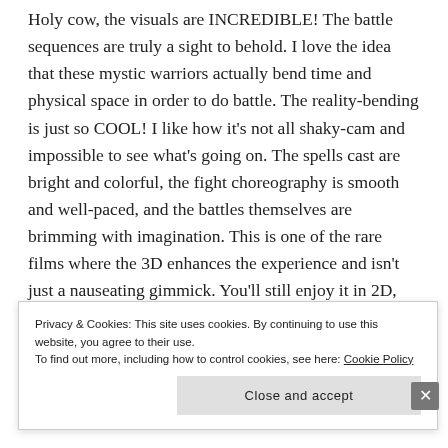Holy cow, the visuals are INCREDIBLE! The battle sequences are truly a sight to behold. I love the idea that these mystic warriors actually bend time and physical space in order to do battle. The reality-bending is just so COOL! I like how it's not all shaky-cam and impossible to see what's going on. The spells cast are bright and colorful, the fight choreography is smooth and well-paced, and the battles themselves are brimming with imagination. This is one of the rare films where the 3D enhances the experience and isn't just a nauseating gimmick. You'll still enjoy it in 2D, but if you are thinking of
Privacy & Cookies: This site uses cookies. By continuing to use this website, you agree to their use.
To find out more, including how to control cookies, see here: Cookie Policy
Close and accept